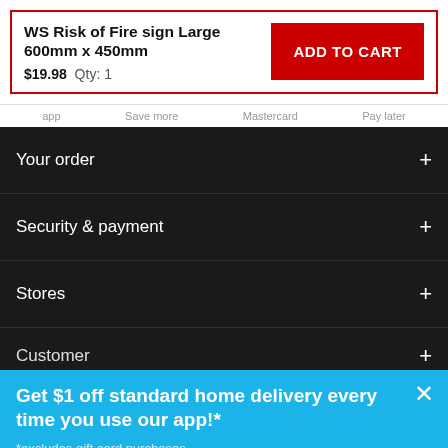WS Risk of Fire sign Large 600mm x 450mm $19.98  Qty: 1
ADD TO CART
app   Save more   Mastercard   Pay later
Your order
Security & payment
Stores
Get $1 off standard home delivery every time you use our app!*
*excludes gift card purchases
LEARN MORE